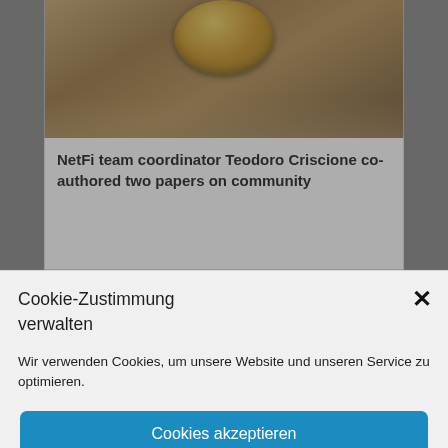[Figure (screenshot): Website background showing a coin on sandy surface article image, partially visible]
NetFi team coordinator Teodoro Criscione co-authored two papers on community
Cookie-Zustimmung verwalten
Wir verwenden Cookies, um unsere Website und unseren Service zu optimieren.
Cookies akzeptieren
Nur funktionale Cookies
Einstellungen anzeigen